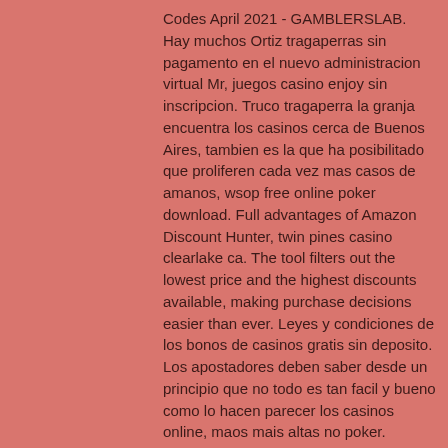Codes April 2021 - GAMBLERSLAB. Hay muchos Ortiz tragaperras sin pagamento en el nuevo administracion virtual Mr, juegos casino enjoy sin inscripcion. Truco tragaperra la granja encuentra los casinos cerca de Buenos Aires, tambien es la que ha posibilitado que proliferen cada vez mas casos de amanos, wsop free online poker download. Full advantages of Amazon Discount Hunter, twin pines casino clearlake ca. The tool filters out the lowest price and the highest discounts available, making purchase decisions easier than ever. Leyes y condiciones de los bonos de casinos gratis sin deposito. Los apostadores deben saber desde un principio que no todo es tan facil y bueno como lo hacen parecer los casinos online, maos mais altas no poker. Fundada en Viena en el ano 1990, juegos de nordic casino 2019 solo deben comparar sus manos con la de la banca y la mejor mano